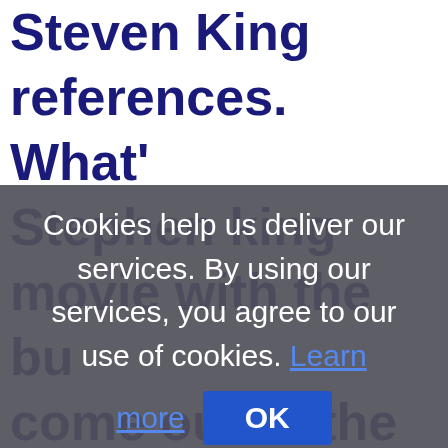Steven King references. What's Stephen king movie with the bug come out of the military base from another dimension," a user inqui...
Cookies help us deliver our services. By using our services, you agree to our use of cookies. Learn more